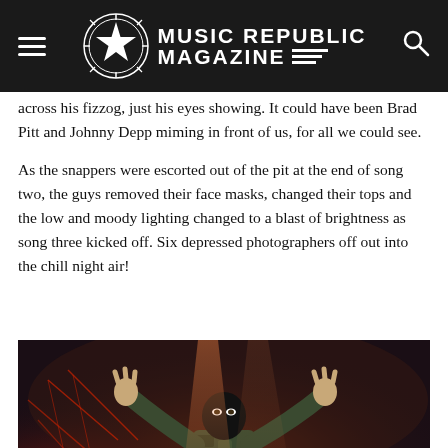Music Republic Magazine
across his fizzog, just his eyes showing. It could have been Brad Pitt and Johnny Depp miming in front of us, for all we could see.
As the snappers were escorted out of the pit at the end of song two, the guys removed their face masks, changed their tops and the low and moody lighting changed to a blast of brightness as song three kicked off. Six depressed photographers off out into the chill night air!
[Figure (photo): Concert photo of a performer wearing a black balaclava/ski mask and camouflage top, arms raised wide on stage with dramatic red/orange stage lighting and smoke in the background, holding a guitar]